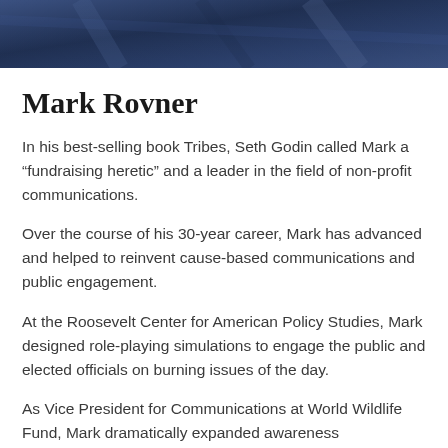[Figure (photo): Partial photo of a person wearing a dark navy blue garment or fabric background, cropped at the bottom of the image strip.]
Mark Rovner
In his best-selling book Tribes, Seth Godin called Mark a “fundraising heretic” and a leader in the field of non-profit communications.
Over the course of his 30-year career, Mark has advanced and helped to reinvent cause-based communications and public engagement.
At the Roosevelt Center for American Policy Studies, Mark designed role-playing simulations to engage the public and elected officials on burning issues of the day.
As Vice President for Communications at World Wildlife Fund, Mark dramatically expanded awareness